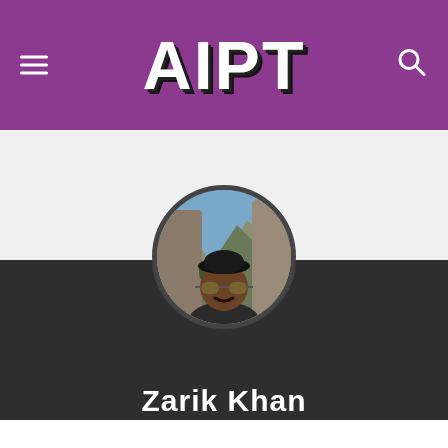AIPT
[Figure (photo): Circular profile photo of Zarik Khan outdoors with mountains/cliffs in background, wearing a dark cap and sunglasses]
Zarik Khan